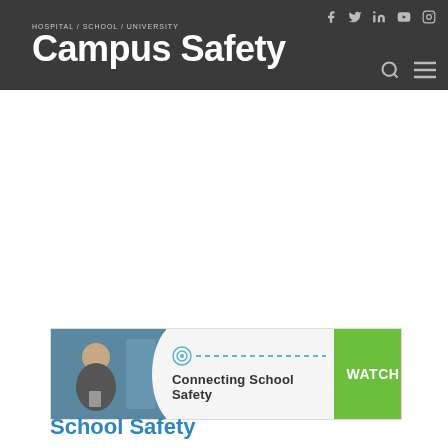HOSPITAL / SCHOOL / UNIVERSITY Campus Safety
[Figure (screenshot): Campus Safety website header with logo and navigation icons (Facebook, Twitter, LinkedIn, YouTube, Instagram, search, menu)]
[Figure (infographic): Advertisement banner: photo of woman with badge, Connecting School Safety logo with dashed line, WATCH button in green]
School Safety